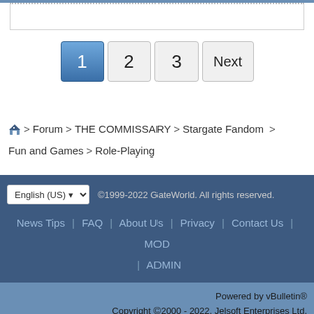[Figure (screenshot): Text input area with dotted top border]
[Figure (screenshot): Pagination buttons: 1 (active/blue), 2, 3, Next]
Forum > THE COMMISSARY > Stargate Fandom > Fun and Games > Role-Playing
English (US) ©1999-2022 GateWorld. All rights reserved. News Tips | FAQ | About Us | Privacy | Contact Us | MOD | ADMIN
Powered by vBulletin® Copyright ©2000 - 2022, Jelsoft Enterprises Ltd. All times are GMT-8. This page was generated at 10:37 PM.
[Figure (screenshot): Advertisement banner: Francesca's, 40% off almost everything, francescas.com]